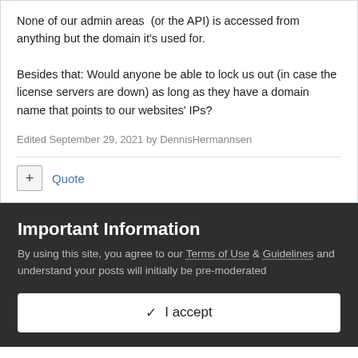None of our admin areas  (or the API) is accessed from anything but the domain it's used for.
Besides that: Would anyone be able to lock us out (in case the license servers are down) as long as they have a domain name that points to our websites' IPs?
Edited September 29, 2021 by DennisHermannsen
+ Quote
Important Information
By using this site, you agree to our Terms of Use & Guidelines and understand your posts will initially be pre-moderated
✓  I accept